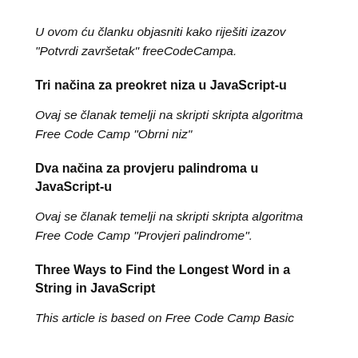U ovom ću članku objasniti kako riješiti izazov "Potvrdi završetak" freeCodeCampa.
Tri načina za preokret niza u JavaScript-u
Ovaj se članak temelji na skripti skripta algoritma Free Code Camp "Obrni niz"
Dva načina za provjeru palindroma u JavaScript-u
Ovaj se članak temelji na skripti skripta algoritma Free Code Camp "Provjeri palindrome".
Three Ways to Find the Longest Word in a String in JavaScript
This article is based on Free Code Camp Basic